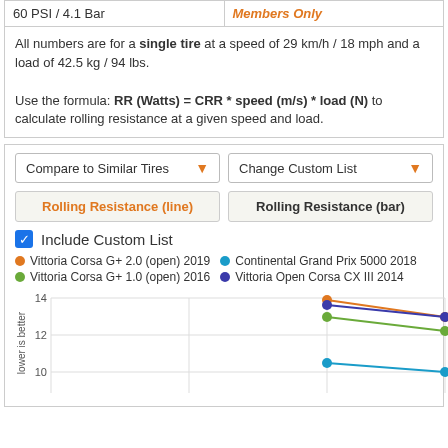| 60 PSI / 4.1 Bar | Members Only |
| --- | --- |
All numbers are for a single tire at a speed of 29 km/h / 18 mph and a load of 42.5 kg / 94 lbs.

Use the formula: RR (Watts) = CRR * speed (m/s) * load (N) to calculate rolling resistance at a given speed and load.
[Figure (line-chart): Line chart comparing rolling resistance of 4 tires at two pressure points]